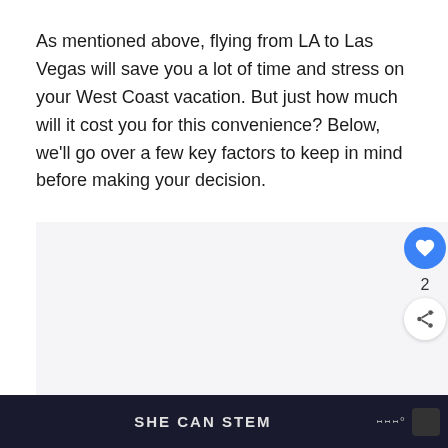As mentioned above, flying from LA to Las Vegas will save you a lot of time and stress on your West Coast vacation. But just how much will it cost you for this convenience? Below, we'll go over a few key factors to keep in mind before making your decision.
[Figure (other): Advertisement or content placeholder area with light gray background]
SHE CAN STEM